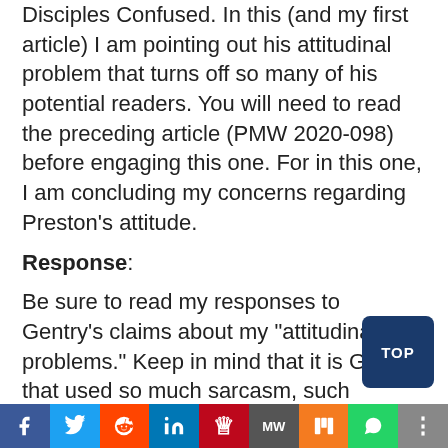Disciples Confused. In this (and my first article) I am pointing out his attitudinal problem that turns off so many of his potential readers. You will need to read the preceding article (PMW 2020-098) before engaging this one. For in this one, I am concluding my concerns regarding Preston’s attitude.
Response:
Be sure to read my responses to Gentry’s claims about my “attitudinal problems.” Keep in mind that it is Gentry that used so much sarcasm, such insulting and pejorative adjectives that go far, far beyond anything…